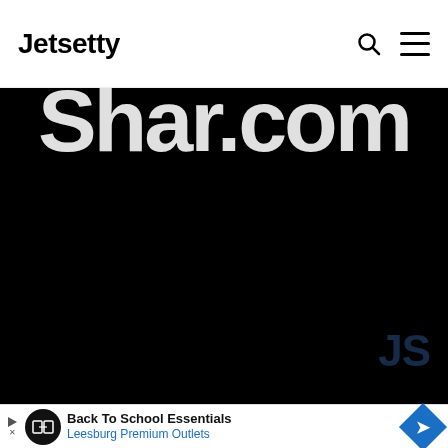Jetsetty
[Figure (photo): Dark/black hero image background with large partially visible white bold text reading 'Shar.com' or similar, cropped at top. Bottom right shows a dark blue 'JS' watermark logo.]
Back To School Essentials Leesburg Premium Outlets